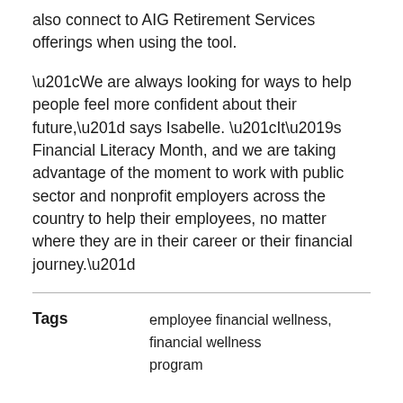also connect to AIG Retirement Services offerings when using the tool.
“We are always looking for ways to help people feel more confident about their future,” says Isabelle. “It’s Financial Literacy Month, and we are taking advantage of the moment to work with public sector and nonprofit employers across the country to help their employees, no matter where they are in their career or their financial journey.”
Tags   employee financial wellness, financial wellness program